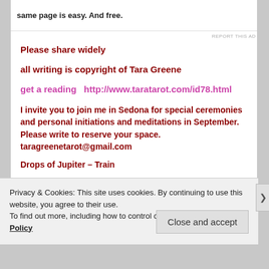same page is easy. And free.
REPORT THIS AD
Please share widely
all writing is copyright of Tara Greene
get a reading  http://www.taratarot.com/id78.html
I invite you to join me in Sedona for special ceremonies and personal initiations and meditations in September. Please write to reserve your space. taragreenetarot@gmail.com
Drops of Jupiter – Train
Privacy & Cookies: This site uses cookies. By continuing to use this website, you agree to their use.
To find out more, including how to control cookies, see here: Cookie Policy
Close and accept